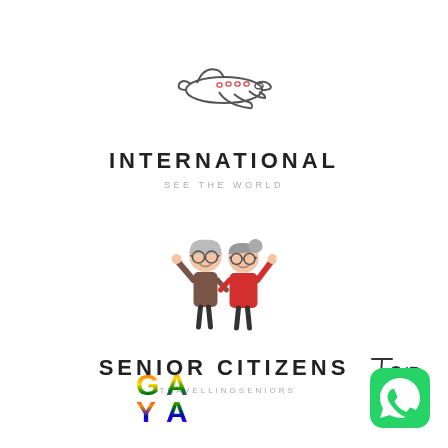[Figure (illustration): Cartoon airplane icon, sketched style, viewed from side-top angle]
INTERNATIONAL
SEE THE WORLD
[Figure (illustration): Cartoon emoji-style illustration of an elderly couple (man and woman) waving with raised hands, smiling]
SENIOR CITIZENS
#TRAVELLINGSENIORS
[Figure (illustration): Handwritten-style cursive text reading 'Top']
[Figure (logo): GAYA text logo in rainbow gradient colors, bold styled letters]
[Figure (logo): WhatsApp app icon — green rounded square with white phone/speech bubble icon]